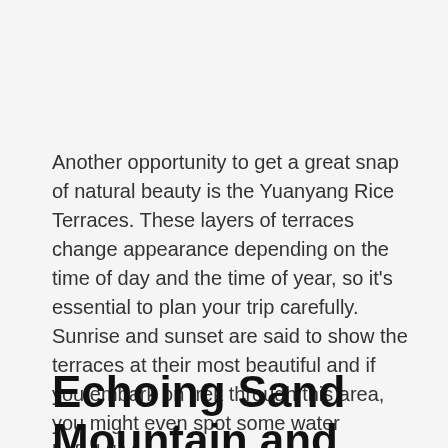Another opportunity to get a great snap of natural beauty is the Yuanyang Rice Terraces. These layers of terraces change appearance depending on the time of day and the time of year, so it's essential to plan your trip carefully. Sunrise and sunset are said to show the terraces at their most beautiful and if you embark on trek through this area, you might even spot some water buffalo!
Echoing Sand Mountain and Crescent Lake